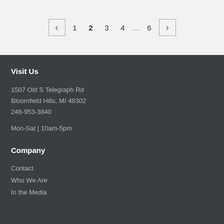‹ 1 2 3 4 … 6 ›
Visit Us
1507 Old S Telegraph Rd
Bloomfield Hills, MI 48302
248-953-3840
Mon-Sat | 10am-5pm
Company
Contact
Who We Are
In the Media